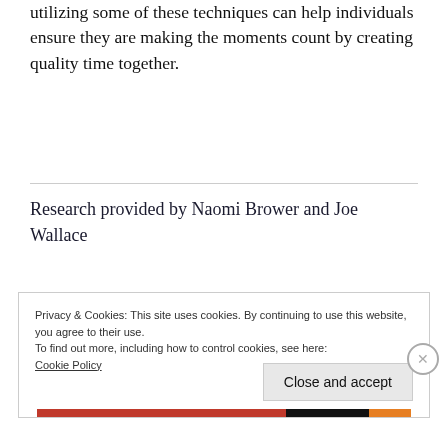utilizing some of these techniques can help individuals ensure they are making the moments count by creating quality time together.
Research provided by Naomi Brower and Joe Wallace
Privacy & Cookies: This site uses cookies. By continuing to use this website, you agree to their use.
To find out more, including how to control cookies, see here:
Cookie Policy